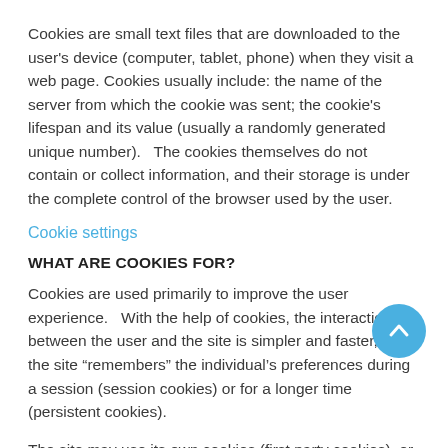Cookies are small text files that are downloaded to the user's device (computer, tablet, phone) when they visit a web page. Cookies usually include: the name of the server from which the cookie was sent; the cookie's lifespan and its value (usually a randomly generated unique number).   The cookies themselves do not contain or collect information, and their storage is under the complete control of the browser used by the user.
Cookie settings
WHAT ARE COOKIES FOR?
Cookies are used primarily to improve the user experience.   With the help of cookies, the interaction between the user and the site is simpler and faster, as the site “remembers” the individual’s preferences during a session (session cookies) or for a longer time (persistent cookies).
The site may use its own cookies (first party cookies), or may use cookies from other sites or services that